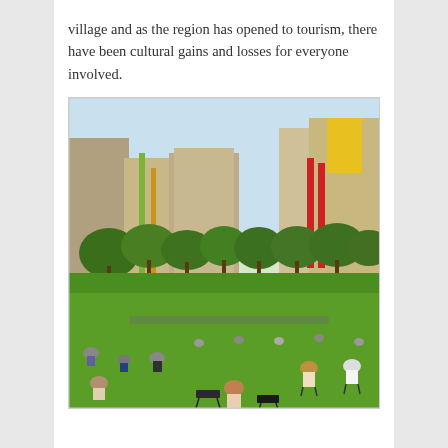village and as the region has opened to tourism, there have been cultural gains and losses for everyone involved.
[Figure (photo): Outdoor urban plaza with large colourful modern buildings (featuring green, red, and yellow architectural panels) in the background, lined with trees, and many people relaxing on a large green lawn in the foreground. Some people sit on chairs, others sit or lie on the grass.]